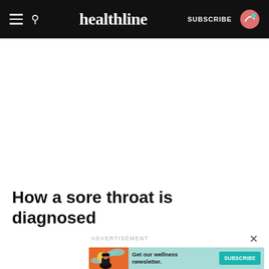healthline — SUBSCRIBE
How a sore throat is diagnosed
ADVERTISEMENT
[Figure (infographic): Advertisement banner for Healthline wellness newsletter subscription. Shows a teal background with an illustrated woman graphic on the left in orange/red tones, text 'Get our wellness newsletter.' in the center, and a teal SUBSCRIBE button on the right.]